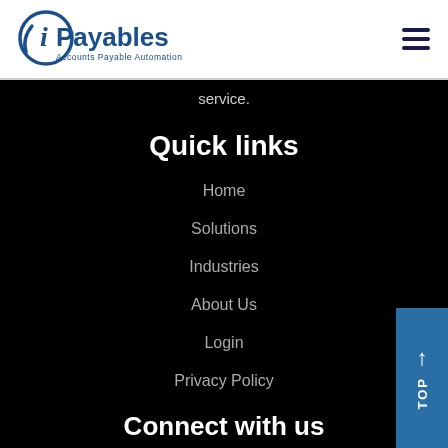[Figure (logo): iPayables logo with text 'Accounts Payable Automation']
service.
Quick links
Home
Solutions
Industries
About Us
Login
Privacy Policy
Connect with us